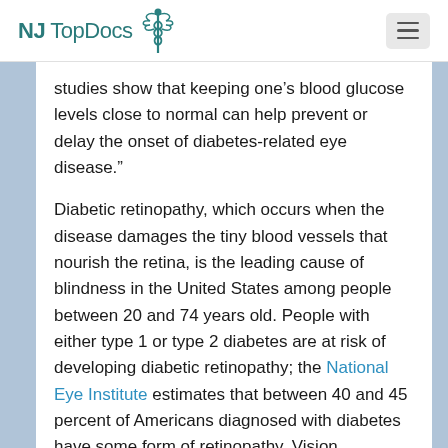NJ Top Docs
studies show that keeping one’s blood glucose levels close to normal can help prevent or delay the onset of diabetes-related eye disease.”
Diabetic retinopathy, which occurs when the disease damages the tiny blood vessels that nourish the retina, is the leading cause of blindness in the United States among people between 20 and 74 years old. People with either type 1 or type 2 diabetes are at risk of developing diabetic retinopathy; the National Eye Institute estimates that between 40 and 45 percent of Americans diagnosed with diabetes have some form of retinopathy. Vision complications